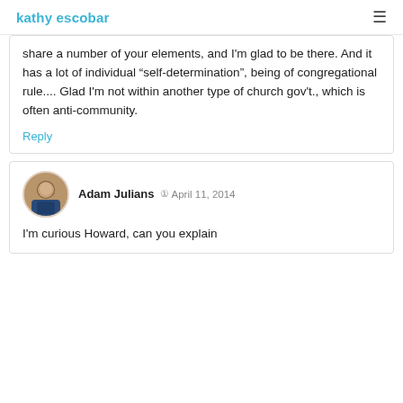kathy escobar
share a number of your elements, and I'm glad to be there. And it has a lot of individual "self-determination", being of congregational rule.... Glad I'm not within another type of church gov't., which is often anti-community.
Reply
Adam Julians  April 11, 2014
I'm curious Howard, can you explain